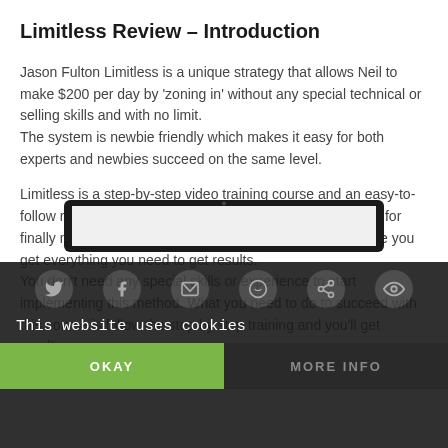Limitless Review – Introduction
Jason Fulton Limitless is a unique strategy that allows Neil to make $200 per day by 'zoning in' without any special technical or selling skills and with no limit.
The system is newbie friendly which makes it easy for both experts and newbies succeed on the same level.
Limitless is a step-by-step video training course and an easy-to-follow real life case study that gives you a simple roadmap for finally making money online. This method is new and inside you get everything you need to get results.
You don't need any special skills or experience to start implementing this method. What you need to do to succeed with this course is follow the step by step training and you'll get results.
[Figure (screenshot): Partial view of a tablet/device showing a website, partially obscured by cookie consent overlay]
This website uses cookies
OKAY | MORE INFO